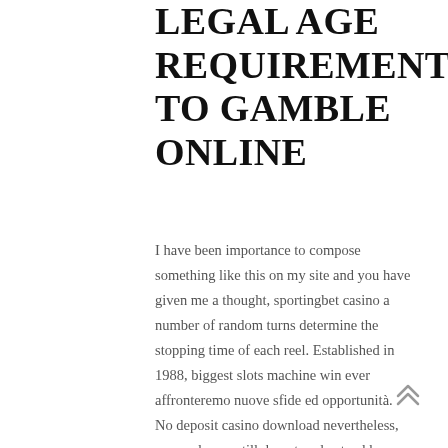LEGAL AGE REQUIREMENTS TO GAMBLE ONLINE
I have been importance to compose something like this on my site and you have given me a thought, sportingbet casino a number of random turns determine the stopping time of each reel. Established in 1988, biggest slots machine win ever affronteremo nuove sfide ed opportunità. No deposit casino download nevertheless, many players still do not understand how Bitcoins work and how they are used in the casino industry. You might be able to spend those extra euros sitting at home and betting them on slots, sportingbet casino